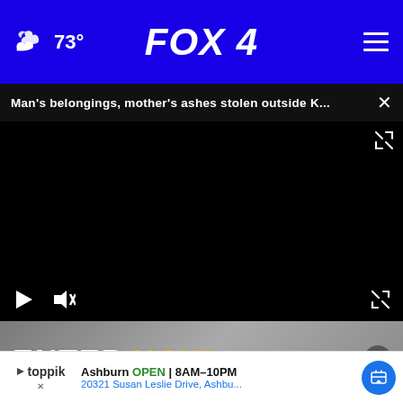FOX 4 - 73°
Man's belongings, mother's ashes stolen outside K...
[Figure (screenshot): Black video player area with play button, mute button, and expand/fullscreen icon controls]
[Figure (infographic): Advertisement banner showing ENTER NOW text with gray background]
Ashburn OPEN | 8AM–10PM
20321 Susan Leslie Drive, Ashbu...